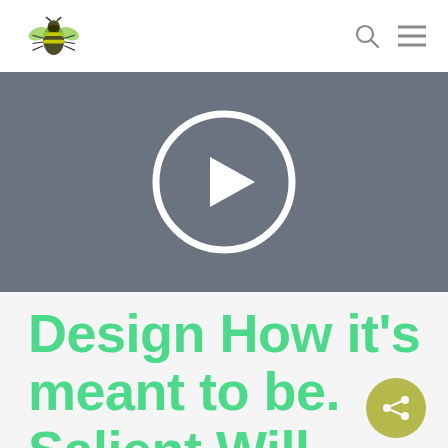Navigation bar with logo and search/menu icons
[Figure (screenshot): Video player placeholder with dark gray background and white circular play button in the center]
Design How it's meant to be. Salient Will Enhance Your